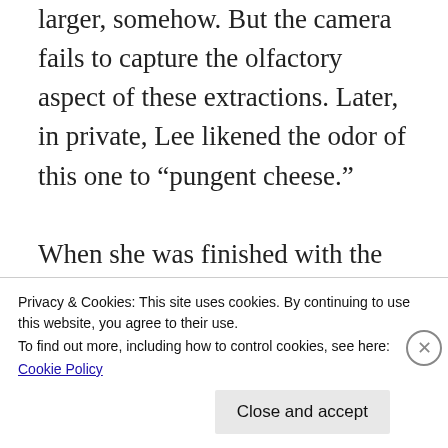more impressive onscreen than in real life larger, somehow. But the camera fails to capture the olfactory aspect of these extractions. Later, in private, Lee likened the odor of this one to “pungent cheese.”

When she was finished with the right side of his nose, Lee moved around to the left. There were noticeably fewer blackheads than during his first extraction, and fewer spectacular eruptions. Lee seemed to be growing slightly disappointed with the overall yield, until she
Privacy & Cookies: This site uses cookies. By continuing to use this website, you agree to their use.
To find out more, including how to control cookies, see here:
Cookie Policy
Close and accept